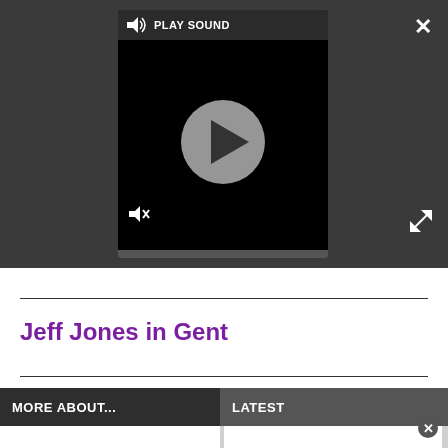[Figure (screenshot): Dark UI panel showing a video/audio player with a play button circle, 'PLAY SOUND' label, speaker icon, mute icon, and a progress bar at the bottom. White X close button top-right, expand arrows icon below it.]
Jeff Jones in Gent
MORE ABOUT...
LATEST